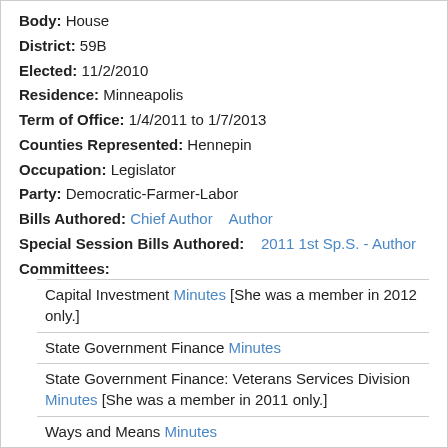Body: House
District: 59B
Elected: 11/2/2010
Residence: Minneapolis
Term of Office: 1/4/2011 to 1/7/2013
Counties Represented: Hennepin
Occupation: Legislator
Party: Democratic-Farmer-Labor
Bills Authored: Chief Author   Author
Special Session Bills Authored: 2011 1st Sp.S. - Author
Committees:
Capital Investment Minutes [She was a member in 2012 only.]
State Government Finance Minutes
State Government Finance: Veterans Services Division Minutes [She was a member in 2011 only.]
Ways and Means Minutes
[Figure (photo): Portrait photo of a person with white/grey hair, partially visible, grey background]